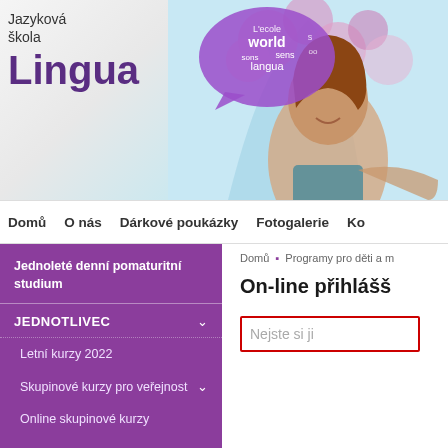[Figure (screenshot): Language school Lingua website header with logo, word cloud bubble, woman photo, navigation bar, purple sidebar menu, and main content area with online registration form]
Jazyková škola
Lingua
Domů  O nás  Dárkové poukázky  Fotogalerie  Ko
Jednoleté denní pomaturitní studium
JEDNOTLIVEC
Letní kurzy 2022
Skupinové kurzy pro veřejnost
Online skupinové kurzy
Domů » Programy pro děti a m
On-line přihlášš
Nejste si ji